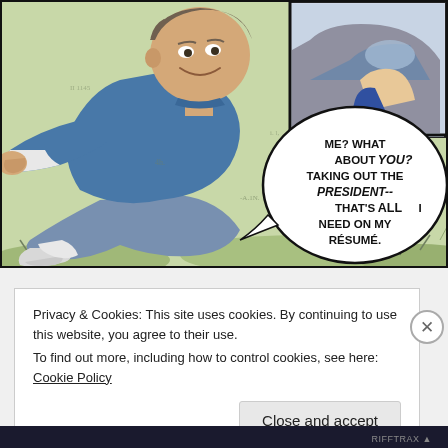[Figure (illustration): Comic book panel showing a man in a blue sweater sitting on grass, smiling and gesturing. A speech bubble reads: 'ME? WHAT ABOUT YOU? TAKING OUT THE PRESIDENT-- THAT'S ALL I NEED ON MY RÉSUMÉ.' A smaller inset panel in the upper right shows another character.]
Privacy & Cookies: This site uses cookies. By continuing to use this website, you agree to their use.
To find out more, including how to control cookies, see here: Cookie Policy
Close and accept